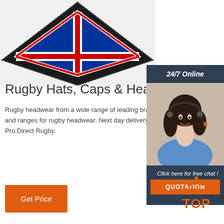[Figure (photo): Union Jack embroidered patch/badge, diamond shape, cropped at top]
Rugby Hats, Caps & Head…
Rugby headwear from a wide range of leading brands, models and ranges for rugby headwear. Next day delivery available from Pro:Direct Rugby.
[Figure (photo): Customer service representative with headset, smiling, with dark hair, wearing blue shirt. Dark blue banner at top reading '24/7 Online'. Orange button at bottom reading 'QUOTATION'. Text 'Click here for free chat !' above button.]
[Figure (other): Orange 'TOP' logo with dotted triangle above text]
Get Price